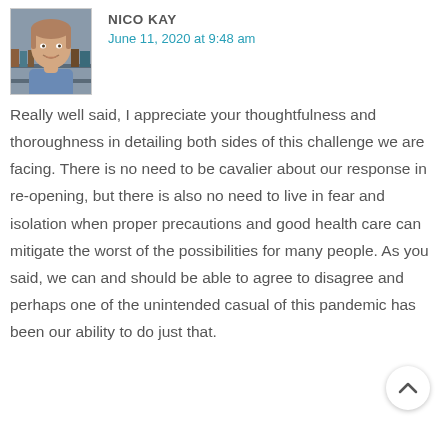[Figure (photo): Headshot photo of a middle-aged man with a blue shirt, smiling, in front of a bookshelf background]
NICO KAT
June 11, 2020 at 9:48 am
Really well said, I appreciate your thoughtfulness and thoroughness in detailing both sides of this challenge we are facing. There is no need to be cavalier about our response in re-opening, but there is also no need to live in fear and isolation when proper precautions and good health care can mitigate the worst of the possibilities for many people. As you said, we can and should be able to agree to disagree and perhaps one of the unintended casualties of this pandemic has been our ability to do just that.